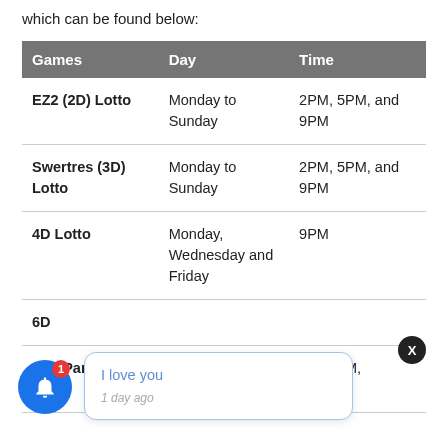which can be found below:
| Games | Day | Time |
| --- | --- | --- |
| EZ2 (2D) Lotto | Monday to Sunday | 2PM, 5PM, and 9PM |
| Swertres (3D) Lotto | Monday to Sunday | 2PM, 5PM, and 9PM |
| 4D Lotto | Monday, Wednesday and Friday | 9PM |
| 6D |  |  |
| STL Pares, | Monday to Sunday | 10:30AM, |